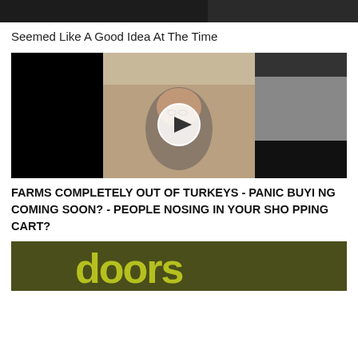[Figure (photo): Partial top image, dark/black background, appears to be a cropped scene]
Seemed Like A Good Idea At The Time
[Figure (photo): Video thumbnail showing a man sitting in a car, smiling, wearing glasses and a grey jacket. A play button overlay is centered on the image.]
FARMS COMPLETELY OUT OF TURKEYS - PANIC BUYING COMING SOON? - PEOPLE NOSING IN YOUR SHOPPING CART?
[Figure (photo): Partial bottom image showing The Doors album cover style text on dark olive/green background]